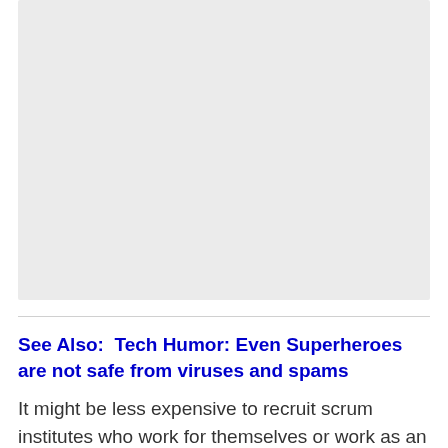[Figure (other): Gray placeholder image or embedded media area]
See Also:  Tech Humor: Even Superheroes are not safe from viruses and spams
It might be less expensive to recruit scrum institutes who work for themselves or work as an afterthought, yet you have to prepare yourself at the cost that